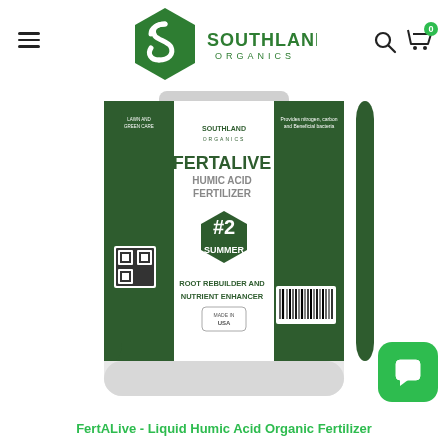[Figure (logo): Southland Organics logo with hexagon S icon and text SOUTHLAND ORGANICS]
[Figure (photo): FertALive Humic Acid Fertilizer #2 Summer Root Rebuilder and Nutrient Enhancer product bottle by Southland Organics]
FertALive - Liquid Humic Acid Organic Fertilizer